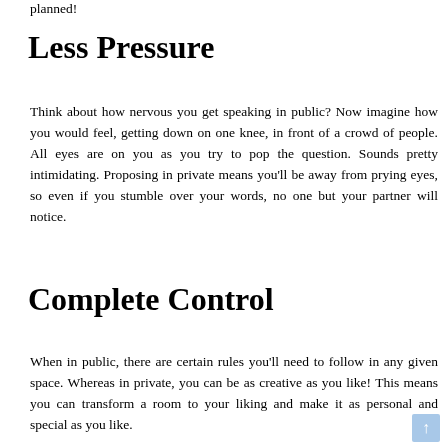planned!
Less Pressure
Think about how nervous you get speaking in public? Now imagine how you would feel, getting down on one knee, in front of a crowd of people. All eyes are on you as you try to pop the question. Sounds pretty intimidating. Proposing in private means you'll be away from prying eyes, so even if you stumble over your words, no one but your partner will notice.
Complete Control
When in public, there are certain rules you'll need to follow in any given space. Whereas in private, you can be as creative as you like! This means you can transform a room to your liking and make it as personal and special as you like.